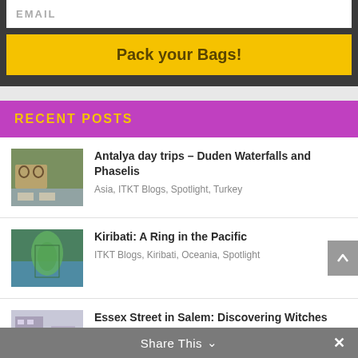EMAIL
Pack your Bags!
RECENT POSTS
Antalya day trips – Duden Waterfalls and Phaselis
Asia, ITKT Blogs, Spotlight, Turkey
Kiribati: A Ring in the Pacific
ITKT Blogs, Kiribati, Oceania, Spotlight
Essex Street in Salem: Discovering Witches and Mariners
ITKT Blogs, North America, Spotlight, United States
Share This